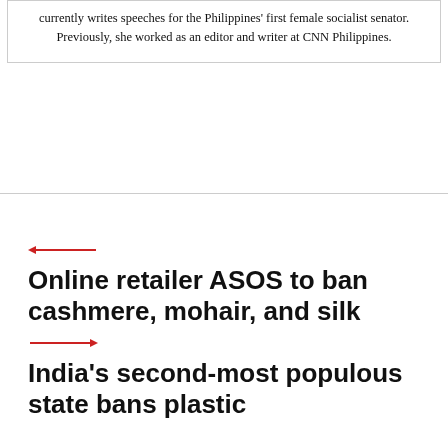currently writes speeches for the Philippines' first female socialist senator. Previously, she worked as an editor and writer at CNN Philippines.
Online retailer ASOS to ban cashmere, mohair, and silk
India's second-most populous state bans plastic